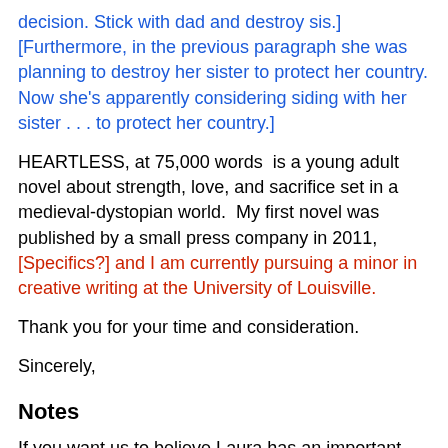decision. Stick with dad and destroy sis.] [Furthermore, in the previous paragraph she was planning to destroy her sister to protect her country. Now she's apparently considering siding with her sister . . . to protect her country.]
HEARTLESS, at 75,000 words  is a young adult novel about strength, love, and sacrifice set in a medieval-dystopian world.  My first novel was published by a small press company in 2011, [Specifics?] and I am currently pursuing a minor in creative writing at the University of Louisville.
Thank you for your time and consideration.
Sincerely,
Notes
If you want us to believe Laura has an important decision, you have to give us reason to believe that she's not cruel and ruthless, that she sees the rebels' side, that she has some redeeming qualities. Right now I'd rather read Alicia's